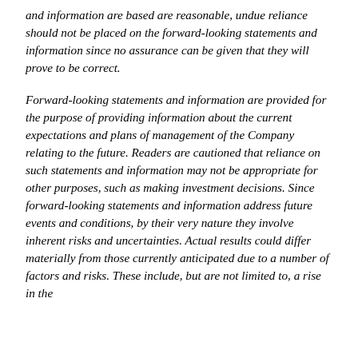and information are based are reasonable, undue reliance should not be placed on the forward-looking statements and information since no assurance can be given that they will prove to be correct.
Forward-looking statements and information are provided for the purpose of providing information about the current expectations and plans of management of the Company relating to the future. Readers are cautioned that reliance on such statements and information may not be appropriate for other purposes, such as making investment decisions. Since forward-looking statements and information address future events and conditions, by their very nature they involve inherent risks and uncertainties. Actual results could differ materially from those currently anticipated due to a number of factors and risks. These include, but are not limited to, a rise in the